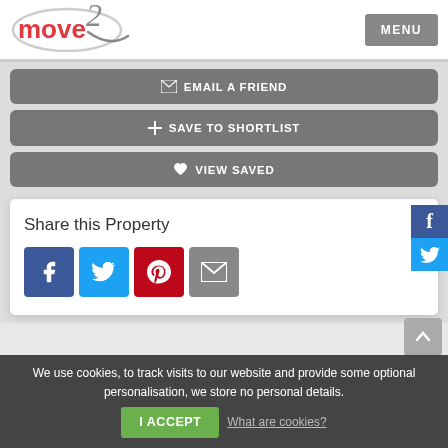[Figure (logo): move2 logo with red text and stylized 2 swoosh]
MENU
✉ EMAIL A FRIEND
+ SAVE TO SHORTLIST
♥ VIEW SAVED
Share this Property
[Figure (infographic): Share icons: Facebook, Twitter, Pinterest, Email]
We use cookies, to track visits to our website and provide some optional personalisation, we store no personal details.
I ACCEPT
What are cookies?